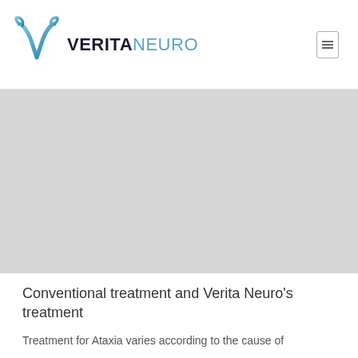VERITA NEURO
[Figure (photo): Large gray placeholder hero image area for Verita Neuro ataxia treatment page]
Conventional treatment and Verita Neuro's treatment
Treatment for Ataxia varies according to the cause of